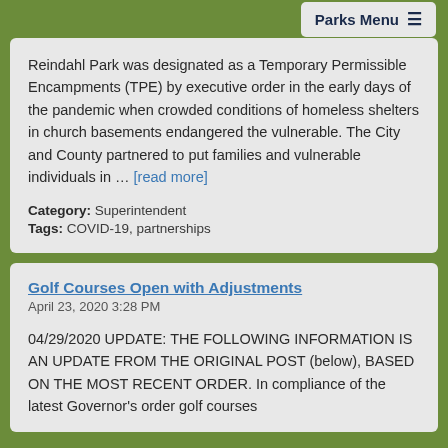Parks Menu
Reindahl Park was designated as a Temporary Permissible Encampments (TPE) by executive order in the early days of the pandemic when crowded conditions of homeless shelters in church basements endangered the vulnerable. The City and County partnered to put families and vulnerable individuals in … [read more]
Category: Superintendent
Tags: COVID-19, partnerships
Golf Courses Open with Adjustments
April 23, 2020 3:28 PM
04/29/2020 UPDATE: THE FOLLOWING INFORMATION IS AN UPDATE FROM THE ORIGINAL POST (below), BASED ON THE MOST RECENT ORDER. In compliance of the latest Governor's order golf courses